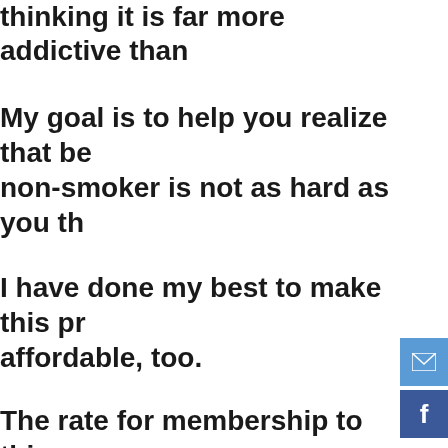thinking it is far more addictive than
My goal is to help you realize that being a non-smoker is not as hard as you think.
I have done my best to make this program affordable, too.
The rate for membership to this program is offered on a sliding scale.
You choose the rate that makes sense and fits your budget.
They the next